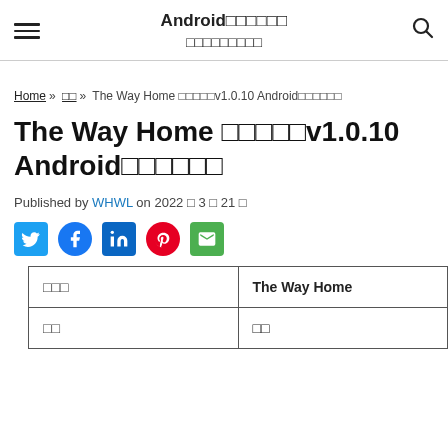Android□□□□□□□□□□□□□□□□□
Home » □□ » The Way Home □□□□□v1.0.10 Android□□□□□□
The Way Home □□□□□v1.0.10 Android□□□□□□
Published by WHWL on 2022 □ 3 □ 21 □
[Figure (infographic): Social media share icons: Twitter (blue bird), Facebook (blue circle), LinkedIn (blue square), Pinterest (red circle), Email (green envelope)]
| □□□ | The Way Home |
| □□ | □□ |